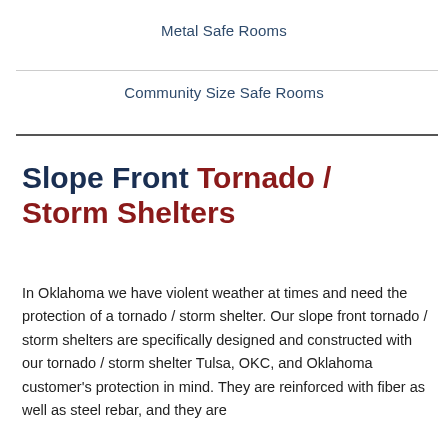Metal Safe Rooms
Community Size Safe Rooms
Slope Front Tornado / Storm Shelters
In Oklahoma we have violent weather at times and need the protection of a tornado / storm shelter. Our slope front tornado / storm shelters are specifically designed and constructed with our tornado / storm shelter Tulsa, OKC, and Oklahoma customer's protection in mind. They are reinforced with fiber as well as steel rebar, and they are